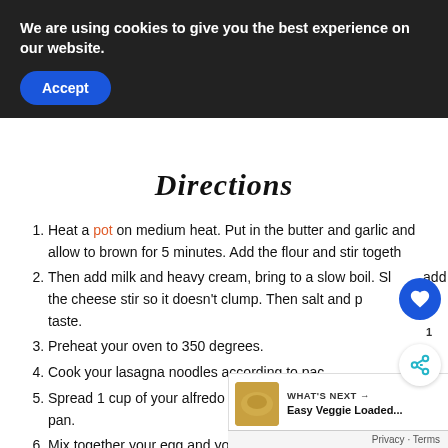We are using cookies to give you the best experience on our website.
Accept
Directions
Heat a pot on medium heat. Put in the butter and garlic and allow to brown for 5 minutes. Add the flour and stir together
Then add milk and heavy cream, bring to a slow boil. Slowly add the cheese stir so it doesn't clump. Then salt and pepper to taste.
Preheat your oven to 350 degrees.
Cook your lasagna noodles according to package
Spread 1 cup of your alfredo sauce on the bottom of a 9x13 inch pan.
Mix together your egg and your ricotta in a medium-sized